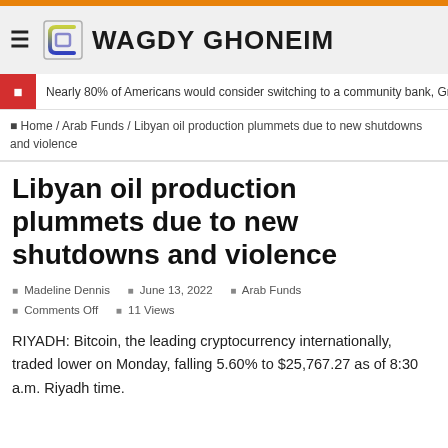WAGDY GHONEIM
Nearly 80% of Americans would consider switching to a community bank, Gra
Home / Arab Funds / Libyan oil production plummets due to new shutdowns and violence
Libyan oil production plummets due to new shutdowns and violence
Madeline Dennis  June 13, 2022  Arab Funds  Comments Off  11 Views
RIYADH: Bitcoin, the leading cryptocurrency internationally, traded lower on Monday, falling 5.60% to $25,767.27 as of 8:30 a.m. Riyadh time.